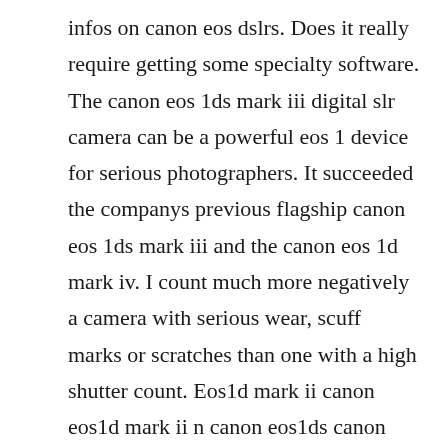infos on canon eos dslrs. Does it really require getting some specialty software. The canon eos 1ds mark iii digital slr camera can be a powerful eos 1 device for serious photographers. It succeeded the companys previous flagship canon eos 1ds mark iii and the canon eos 1d mark iv. I count much more negatively a camera with serious wear, scuff marks or scratches than one with a high shutter count. Eos1d mark ii canon eos1d mark ii n canon eos1ds canon eos1ds mark ii coolpix a.